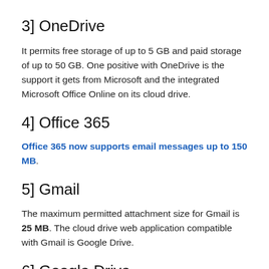3] OneDrive
It permits free storage of up to 5 GB and paid storage of up to 50 GB. One positive with OneDrive is the support it gets from Microsoft and the integrated Microsoft Office Online on its cloud drive.
4] Office 365
Office 365 now supports email messages up to 150 MB .
5] Gmail
The maximum permitted attachment size for Gmail is 25 MB. The cloud drive web application compatible with Gmail is Google Drive.
6] Google Drive